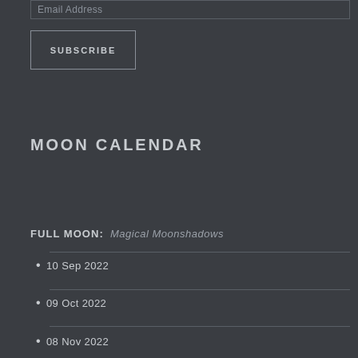Email Address
SUBSCRIBE
MOON CALENDAR
FULL MOON: Magical Moonshadows
10 Sep 2022
09 Oct 2022
08 Nov 2022